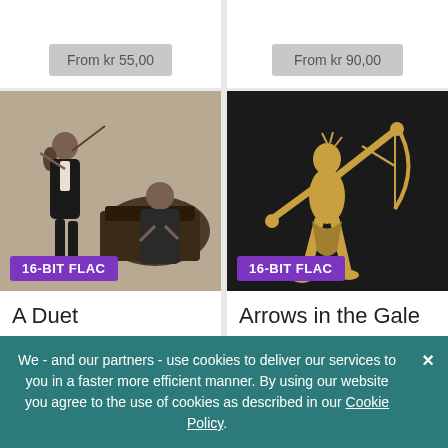From kr 55,00
From kr 90,00
[Figure (illustration): Vintage sepia sketch of two musicians — a violinist standing and a pianist seated at a grand piano]
16-BIT FLAC
[Figure (illustration): Black background with golden/amber illustration of a muscular figure throwing or drawing a bow with arrows in a gale]
16-BIT FLAC
A Duet
Stevie Wonder
Arrows in the Gale
Stevie Wonder
We - and our partners - use cookies to deliver our services to you in a faster more efficient manner. By using our website you agree to the use of cookies as described in our Cookie Policy.